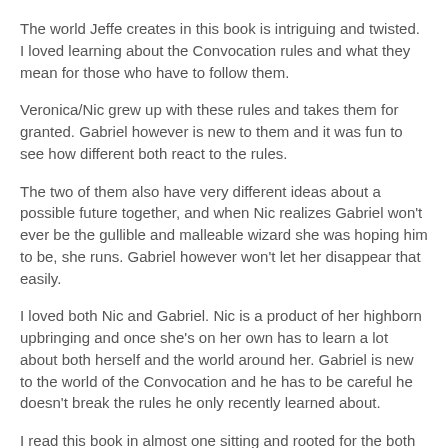The world Jeffe creates in this book is intriguing and twisted. I loved learning about the Convocation rules and what they mean for those who have to follow them.
Veronica/Nic grew up with these rules and takes them for granted. Gabriel however is new to them and it was fun to see how different both react to the rules.
The two of them also have very different ideas about a possible future together, and when Nic realizes Gabriel won't ever be the gullible and malleable wizard she was hoping him to be, she runs. Gabriel however won't let her disappear that easily.
I loved both Nic and Gabriel. Nic is a product of her highborn upbringing and once she's on her own has to learn a lot about both herself and the world around her. Gabriel is new to the world of the Convocation and he has to be careful he doesn't break the rules he only recently learned about.
I read this book in almost one sitting and rooted for the both of them. The ending of this book is very satisfying, but there's so much coming for these two, and there's so much yet to explore within this fascinating world that I'm eager for the next book. I want more!
Why should you read it:
It's a wonderful dark Fantasy Romance